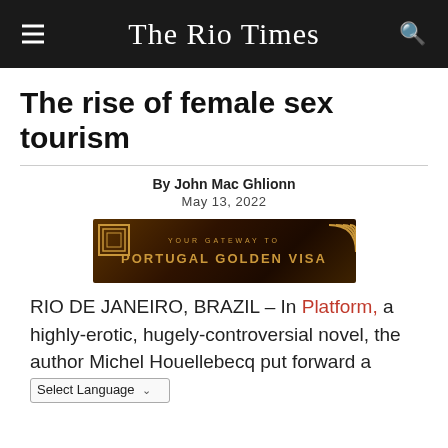The Rio Times
The rise of female sex tourism
By John Mac Ghlionn
May 13, 2022
[Figure (other): Advertisement banner: YOUR GATEWAY TO PORTUGAL GOLDEN VISA with gold geometric pattern]
RIO DE JANEIRO, BRAZIL – In Platform, a highly-erotic, hugely-controversial novel, the author Michel Houellebecq put forward a [Select Language ▾]